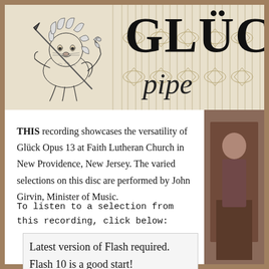[Figure (logo): Glück pipe organ company header banner with lion illustration holding a spear, decorative organ pipes in background, large text GLÜC and italic 'pipe' partially visible]
THIS recording showcases the versatility of Glück Opus 13 at Faith Lutheran Church in New Providence, New Jersey. The varied selections on this disc are performed by John Girvin, Minister of Music.
To listen to a selection from this recording, click below:
Latest version of Flash required. Flash 10 is a good start!